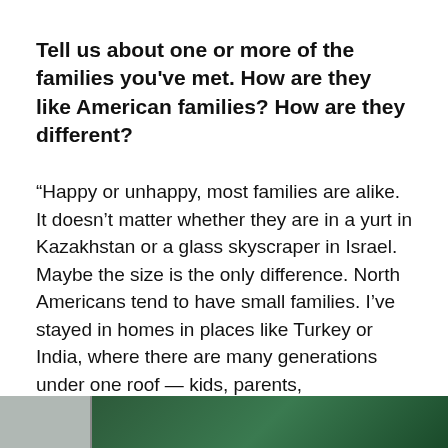Tell us about one or more of the families you’ve met. How are they like American families? How are they different?
“Happy or unhappy, most families are alike. It doesn’t matter whether they are in a yurt in Kazakhstan or a glass skyscraper in Israel. Maybe the size is the only difference. North Americans tend to have small families. I’ve stayed in homes in places like Turkey or India, where there are many generations under one roof — kids, parents, grandparents, even uncles and aunts. Sharing a bed with hosts of the same gender is pretty common, simply because there’s no other space.”
[Figure (photo): Partial photo visible at the bottom of the page showing a person and green background, cropped.]